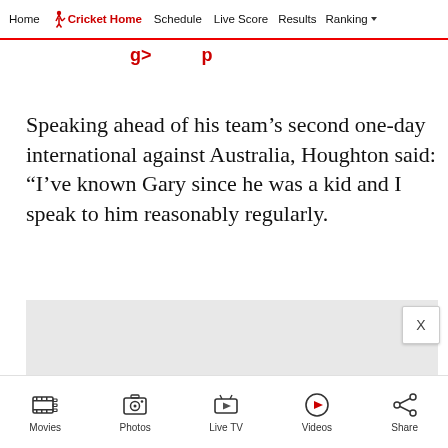Home | Cricket Home | Schedule | Live Score | Results | Ranking
Speaking ahead of his team’s second one-day international against Australia, Houghton said: “I’ve known Gary since he was a kid and I speak to him reasonably regularly.
[Figure (other): Advertisement placeholder box (grey rectangle)]
Movies | Photos | Live TV | Videos | Share